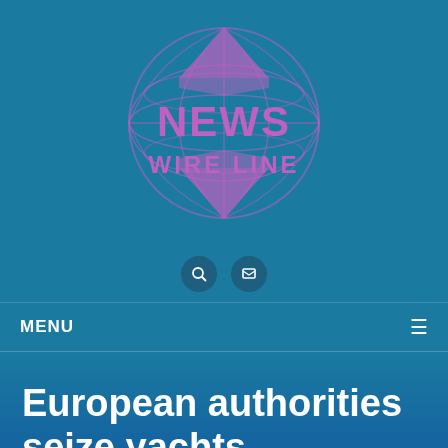[Figure (logo): News Wire Line globe logo with purple/pink globe graphic and text 'NEWS WIRE LINE' in purple/pink color]
MENU
European authorities seize yachts belonging to Russian oligarchs